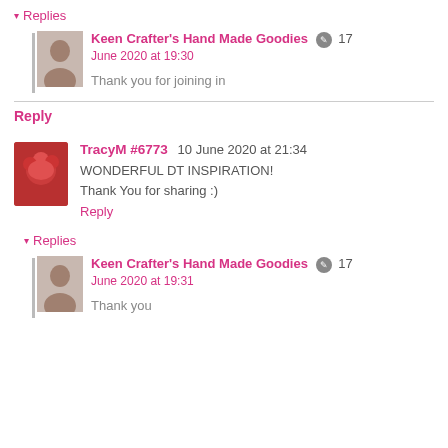▾ Replies
Keen Crafter's Hand Made Goodies ✎ 17 June 2020 at 19:30
Thank you for joining in
Reply
TracyM #6773  10 June 2020 at 21:34
WONDERFUL DT INSPIRATION!
Thank You for sharing :)
Reply
▾ Replies
Keen Crafter's Hand Made Goodies ✎ 17 June 2020 at 19:31
Thank you